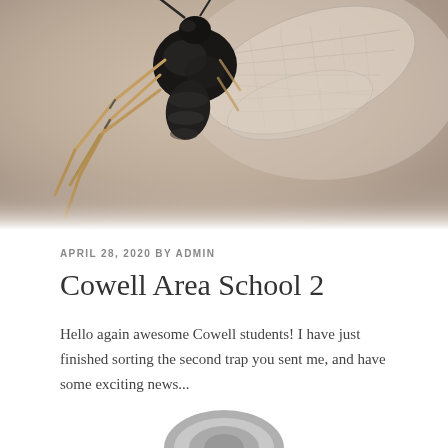[Figure (photo): Close-up macro photograph of a wasp or hornet insect against a tan/beige background, showing the insect's body, legs, wings and markings in detail]
APRIL 28, 2020 BY ADMIN
Cowell Area School 2
Hello again awesome Cowell students! I have just finished sorting the second trap you sent me, and have some exciting news...
[Figure (photo): Partial view of a circular object, possibly a petri dish or trap lid, visible at the bottom of the page]